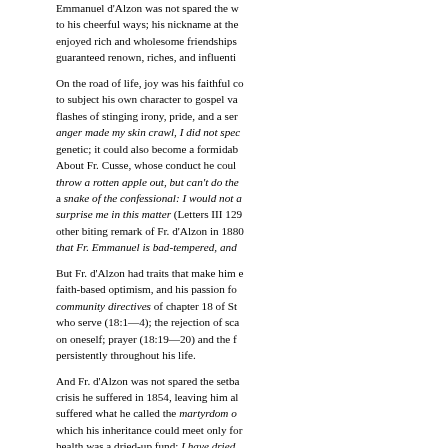Emmanuel d'Alzon was not spared the w... to his cheerful ways; his nickname at the... enjoyed rich and wholesome friendships... guaranteed renown, riches, and influenti...
On the road of life, joy was his faithful co... to subject his own character to gospel va... flashes of stinging irony, pride, and a ser... anger made my skin crawl, I did not spec... genetic; it could also become a formidab... About Fr. Cusse, whose conduct he coul... throw a rotten apple out, but can't do the... a snake of the confessional: I would not a... surprise me in this matter (Letters III 129... other biting remark of Fr. d'Alzon in 1880... that Fr. Emmanuel is bad-tempered, and...
But Fr. d'Alzon had traits that make him e... faith-based optimism, and his passion fo... community directives of chapter 18 of St... who serve (18:1—4); the rejection of sca... on oneself; prayer (18:19—20) and the f... persistently throughout his life.
And Fr. d'Alzon was not spared the setba... crisis he suffered in 1854, leaving him al... suffered what he called the martyrdom o... which his inheritance could meet only for... health was a dried-up fund: I have dried... 1860, then of his father in 1864, and fina... remaining member of his generation. He... see her in the parlor, in the chapel, in the... 3547). And what can be said of the suffe... particularly at a time when the harvest ne... largely attributable to the dishonesty of B... desire for religious life in community, left... take too long to list all the crosses he bor...
But it would be wrong that all...